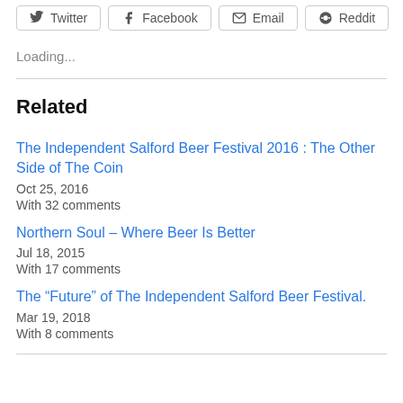[Figure (other): Social share buttons row: Twitter, Facebook, Email, Reddit]
Loading...
Related
The Independent Salford Beer Festival 2016 : The Other Side of The Coin
Oct 25, 2016
With 32 comments
Northern Soul – Where Beer Is Better
Jul 18, 2015
With 17 comments
The “Future” of The Independent Salford Beer Festival.
Mar 19, 2018
With 8 comments